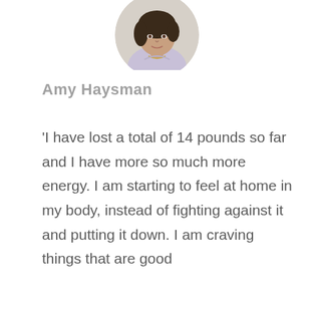[Figure (photo): Circular portrait photo of Amy Haysman, a woman with dark hair, wearing a light lavender/grey top and a necklace, shown from the shoulders up against a soft background.]
Amy Haysman
'I have lost a total of 14 pounds so far and I have more so much more energy. I am starting to feel at home in my body, instead of fighting against it and putting it down. I am craving things that are good